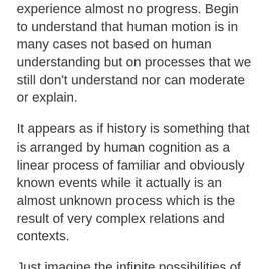experience almost no progress. Begin to understand that human motion is in many cases not based on human understanding but on processes that we still don't understand nor can moderate or explain.
It appears as if history is something that is arranged by human cognition as a linear process of familiar and obviously known events while it actually is an almost unknown process which is the result of very complex relations and contexts.
Just imagine the infinite possibilities of potential and actual thoughts and the vast space of interpersonal connections that are possible at a certain moment in time and now think of how plain we sum it all up to this linear story that we call our history – in order to understand what actually happens to us, with us and through us. – A blinking cursor at the end of this